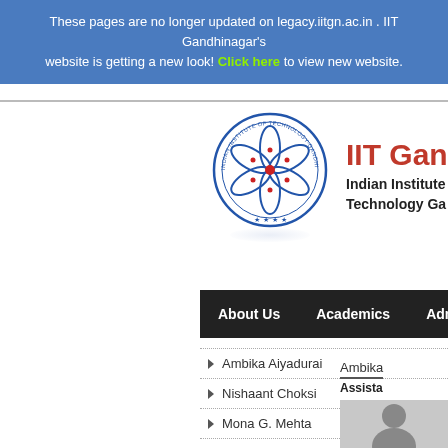These pages are no longer updated on legacy.iitgn.ac.in . IIT Gandhinagar's website is getting a new look! Click here to view new website.
[Figure (logo): IIT Gandhinagar circular logo with blue interlocking arcs and red center dot, with reflection beneath]
IIT Gandh
Indian Institute Technology Ga
About Us   Academics   Admissions
Ambika Aiyadurai
Nishaant Choksi
Mona G. Mehta
Krishna Prasad
A. Ramanathan
Ambika
Assista